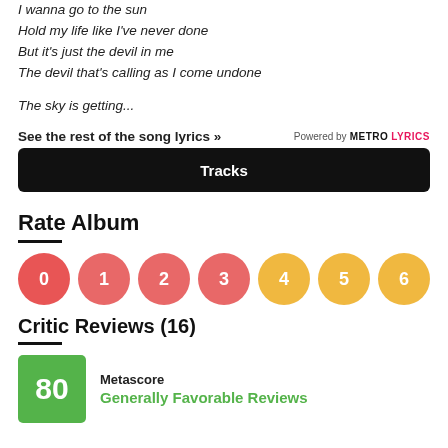I wanna go to the sun
Hold my life like I've never done
But it's just the devil in me
The devil that's calling as I come undone

The sky is getting...
See the rest of the song lyrics »
Powered by METROLYRICS
Tracks
Rate Album
[Figure (infographic): Rating circles numbered 0-6, colors: 0-3 red/pink, 4-6 yellow/gold]
Critic Reviews (16)
[Figure (infographic): Green Metascore box showing 80 with label 'Metascore' and text 'Generally Favorable Reviews']